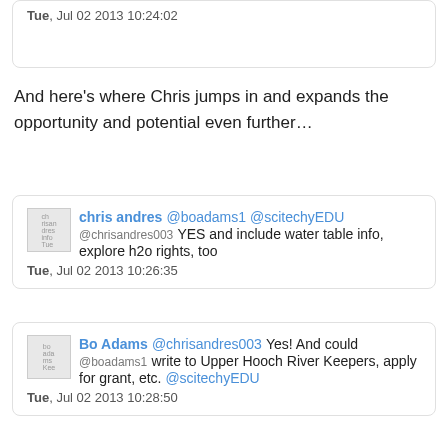[Figure (screenshot): Partial tweet card at top showing timestamp: Tue, Jul 02 2013 10:24:02]
And here's where Chris jumps in and expands the opportunity and potential even further…
[Figure (screenshot): Tweet from chris andres (@chrisandres003) mentioning @boadams1 @scitechyEDU: YES and include water table info, explore h2o rights, too. Tue, Jul 02 2013 10:26:35]
[Figure (screenshot): Tweet from Bo Adams (@boadams1) mentioning @chrisandres003: Yes! And could write to Upper Hooch River Keepers, apply for grant, etc. @scitechyEDU. Tue, Jul 02 2013 10:28:50]